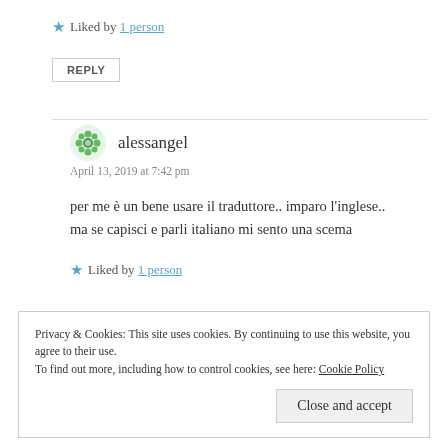★ Liked by 1 person
REPLY
alessangel
April 13, 2019 at 7:42 pm
per me è un bene usare il traduttore.. imparo l'inglese.. ma se capisci e parli italiano mi sento una scema
★ Liked by 1 person
Privacy & Cookies: This site uses cookies. By continuing to use this website, you agree to their use. To find out more, including how to control cookies, see here: Cookie Policy
Close and accept